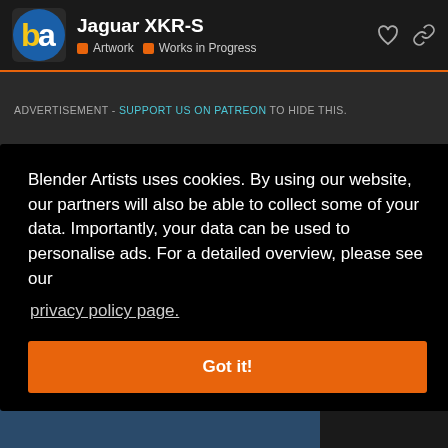Jaguar XKR-S · Artwork · Works in Progress
ADVERTISEMENT - SUPPORT US ON PATREON TO HIDE THIS.
Blender Artists uses cookies. By using our website, our partners will also be able to collect some of your data. Importantly, your data can be used to personalise ads. For a detailed overview, please see our privacy policy page.
Got it!